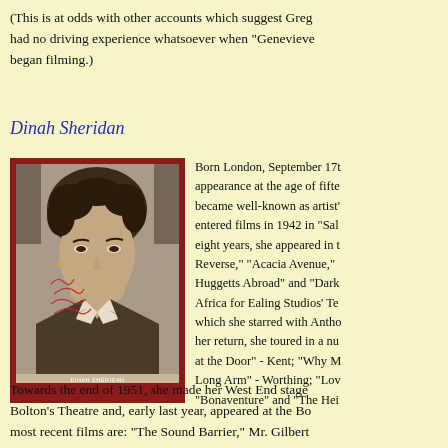(This is at odds with other accounts which suggest Greg had no driving experience whatsoever when "Genevieve" began filming.)
Dinah Sheridan
[Figure (photo): Black and white signed promotional photograph of Dinah Sheridan, showing a woman with curled hair in a suit jacket, with a red handwritten autograph signature overlaid. Caption reads DINAH SHERIDAN at the bottom.]
Born London, September 17th appearance at the age of fift became well-known as artist' entered films in 1942 in "Sal eight years, she appeared in t Reverse," "Acacia Avenue," Huggetts Abroad" and "Dark Africa for Ealing Studios' Te which she starred with Antho her return, she toured in a nu at the Door" - Kent; "Why M Long Arm" - Worthing; "Lov "Bonaventure" and "The Hei
Towards the end of 1951, she made her West End stage Bolton's Theatre and, early last year, appeared at the Bo most recent films are: "The Sound Barrier," Mr. Gilbert in London." She is currently starring with John Gregor